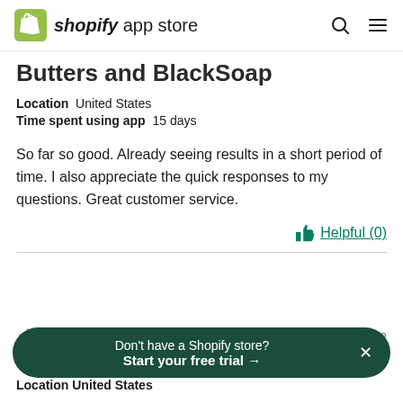shopify app store
Butters and BlackSoap
Location United States
Time spent using app 15 days
So far so good. Already seeing results in a short period of time. I also appreciate the quick responses to my questions. Great customer service.
Helpful (0)
Edited June 2, 2022
Don't have a Shopify store? Start your free trial →
Location United States